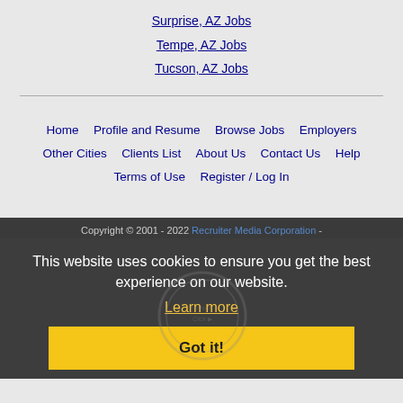Surprise, AZ Jobs
Tempe, AZ Jobs
Tucson, AZ Jobs
Home | Profile and Resume | Browse Jobs | Employers | Other Cities | Clients List | About Us | Contact Us | Help | Terms of Use | Register / Log In
Copyright © 2001 - 2022 Recruiter Media Corporation - Mesa Jobs
This website uses cookies to ensure you get the best experience on our website. Learn more
Got it!